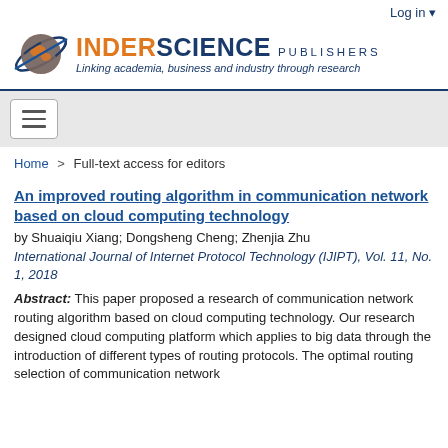Log in
[Figure (logo): Inderscience Publishers logo with globe graphic and tagline: Linking academia, business and industry through research]
Home > Full-text access for editors
An improved routing algorithm in communication network based on cloud computing technology
by Shuaiqiu Xiang; Dongsheng Cheng; Zhenjia Zhu
International Journal of Internet Protocol Technology (IJIPT), Vol. 11, No. 1, 2018
Abstract: This paper proposed a research of communication network routing algorithm based on cloud computing technology. Our research designed cloud computing platform which applies to big data through the introduction of different types of routing protocols. The optimal routing selection of communication network